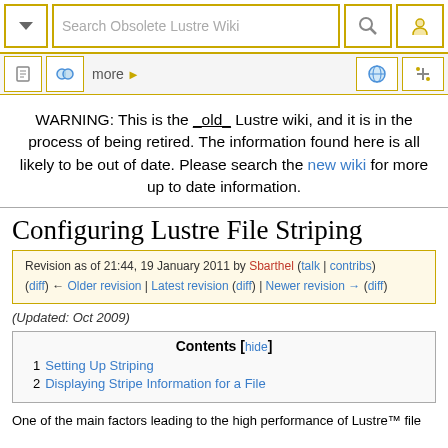Search Obsolete Lustre Wiki
WARNING: This is the _old_ Lustre wiki, and it is in the process of being retired. The information found here is all likely to be out of date. Please search the new wiki for more up to date information.
Configuring Lustre File Striping
Revision as of 21:44, 19 January 2011 by Sbarthel (talk | contribs)
(diff) ← Older revision | Latest revision (diff) | Newer revision → (diff)
(Updated: Oct 2009)
Contents [hide]
1 Setting Up Striping
2 Displaying Stripe Information for a File
One of the main factors leading to the high performance of Lustre™ file